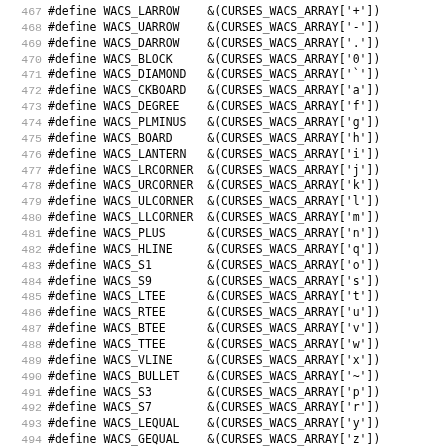467 #define WACS_LARROW  &(CURSES_WACS_ARRAY['+'])
468 #define WACS_UARROW  &(CURSES_WACS_ARRAY['-'])
469 #define WACS_DARROW  &(CURSES_WACS_ARRAY['.'])
470 #define WACS_BLOCK   &(CURSES_WACS_ARRAY['0'])
471 #define WACS_DIAMOND &(CURSES_WACS_ARRAY['`'])
472 #define WACS_CKBOARD &(CURSES_WACS_ARRAY['a'])
473 #define WACS_DEGREE  &(CURSES_WACS_ARRAY['f'])
474 #define WACS_PLMINUS &(CURSES_WACS_ARRAY['g'])
475 #define WACS_BOARD   &(CURSES_WACS_ARRAY['h'])
476 #define WACS_LANTERN &(CURSES_WACS_ARRAY['i'])
477 #define WACS_LRCORNER &(CURSES_WACS_ARRAY['j'])
478 #define WACS_URCORNER &(CURSES_WACS_ARRAY['k'])
479 #define WACS_ULCORNER &(CURSES_WACS_ARRAY['l'])
480 #define WACS_LLCORNER &(CURSES_WACS_ARRAY['m'])
481 #define WACS_PLUS    &(CURSES_WACS_ARRAY['n'])
482 #define WACS_HLINE   &(CURSES_WACS_ARRAY['q'])
483 #define WACS_S1      &(CURSES_WACS_ARRAY['o'])
484 #define WACS_S9      &(CURSES_WACS_ARRAY['s'])
485 #define WACS_LTEE    &(CURSES_WACS_ARRAY['t'])
486 #define WACS_RTEE    &(CURSES_WACS_ARRAY['u'])
487 #define WACS_BTEE    &(CURSES_WACS_ARRAY['v'])
488 #define WACS_TTEE    &(CURSES_WACS_ARRAY['w'])
489 #define WACS_VLINE   &(CURSES_WACS_ARRAY['x'])
490 #define WACS_BULLET  &(CURSES_WACS_ARRAY['~'])
491 #define WACS_S3      &(CURSES_WACS_ARRAY['p'])
492 #define WACS_S7      &(CURSES_WACS_ARRAY['r'])
493 #define WACS_LEQUAL  &(CURSES_WACS_ARRAY['y'])
494 #define WACS_GEQUAL  &(CURSES_WACS_ARRAY['z'])
495 #define WACS_PI      &(CURSES_WACS_ARRAY['{'])
496 #define WACS_NEQUAL  &(CURSES_WACS_ARRAY['|'])
497 #define WACS_STERLING &(CURSES_WACS_ARRAY['}'])
498 #endif
499